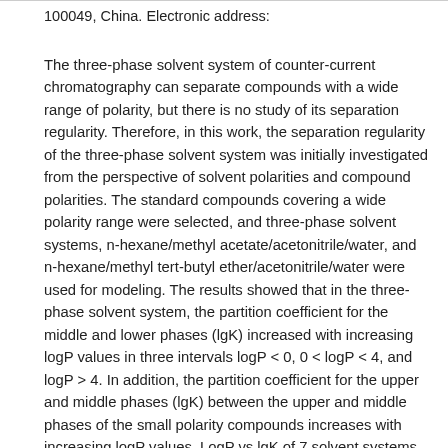100049, China. Electronic address:
The three-phase solvent system of counter-current chromatography can separate compounds with a wide range of polarity, but there is no study of its separation regularity. Therefore, in this work, the separation regularity of the three-phase solvent system was initially investigated from the perspective of solvent polarities and compound polarities. The standard compounds covering a wide polarity range were selected, and three-phase solvent systems, n-hexane/methyl acetate/acetonitrile/water, and n-hexane/methyl tert-butyl ether/acetonitrile/water were used for modeling. The results showed that in the three-phase solvent system, the partition coefficient for the middle and lower phases (lgK) increased with increasing logP values in three intervals logP < 0, 0 < logP < 4, and logP > 4. In addition, the partition coefficient for the upper and middle phases (lgK) between the upper and middle phases of the small polarity compounds increases with increasing logP values. LogP vs lgK of 7 solvent systems were employed for the smoothing spline fit through a predictive model design of the curve fitting toolbox in MATLAB software, and good results were achieved. LogP versus lgK for n-hexane/methyl tert-butyl ether/acetonitrile/water solvent systems were used for the second-order power fit, and